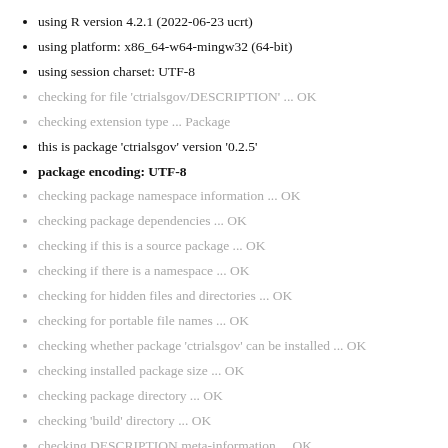using R version 4.2.1 (2022-06-23 ucrt)
using platform: x86_64-w64-mingw32 (64-bit)
using session charset: UTF-8
checking for file 'ctrialsgov/DESCRIPTION' ... OK
checking extension type ... Package
this is package 'ctrialsgov' version '0.2.5'
package encoding: UTF-8
checking package namespace information ... OK
checking package dependencies ... OK
checking if this is a source package ... OK
checking if there is a namespace ... OK
checking for hidden files and directories ... OK
checking for portable file names ... OK
checking whether package 'ctrialsgov' can be installed ... OK
checking installed package size ... OK
checking package directory ... OK
checking 'build' directory ... OK
checking DESCRIPTION meta-information ... OK
checking top-level files ... OK
checking for left-over files ... OK
checking index information ... OK
checking package subdirectories ... OK
checking R files for non-ASCII characters ... OK
checking R files for syntax errors ... OK